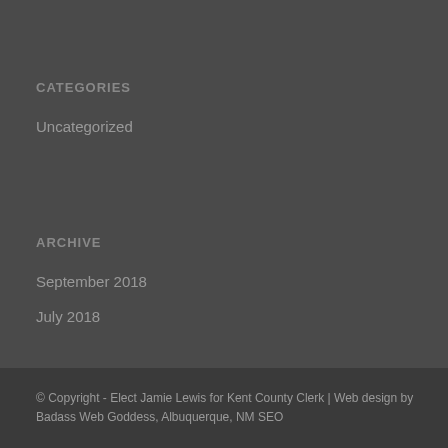CATEGORIES
Uncategorized
ARCHIVE
September 2018
July 2018
© Copyright - Elect Jamie Lewis for Kent County Clerk | Web design by Badass Web Goddess, Albuquerque, NM SEO